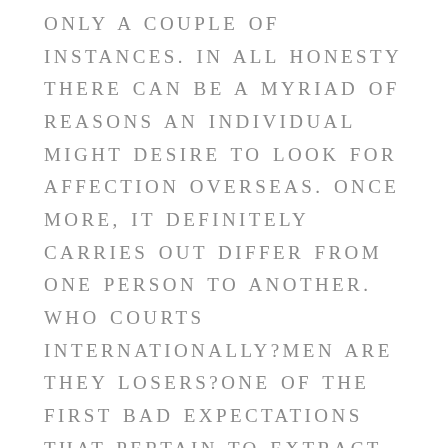ONLY A COUPLE OF INSTANCES. IN ALL HONESTY THERE CAN BE A MYRIAD OF REASONS AN INDIVIDUAL MIGHT DESIRE TO LOOK FOR AFFECTION OVERSEAS. ONCE MORE, IT DEFINITELY CARRIES OUT DIFFER FROM ONE PERSON TO ANOTHER. WHO COURTS INTERNATIONALLY?MEN ARE THEY LOSERS?ONE OF THE FIRST BAD EXPECTATIONS THAT PERTAIN TO EXTRACT WHEN YOU BROACH THE